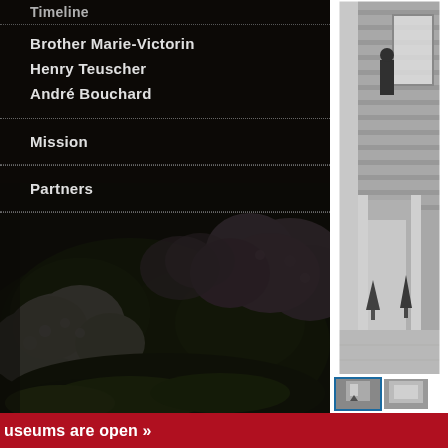Timeline
Brother Marie-Victorin
Henry Teuscher
André Bouchard
Mission
Partners
[Figure (photo): Colorful garden with blooming white and pink hydrangeas and lush green foliage]
[Figure (photo): Black and white historical photo of a brick building exterior with a person standing near the entrance and small evergreen trees]
[Figure (photo): Thumbnail of black and white building photo]
[Figure (photo): Thumbnail of additional historical photo]
useums are open »